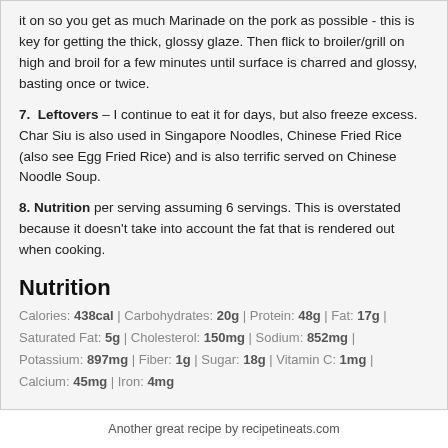it on so you get as much Marinade on the pork as possible - this is key for getting the thick, glossy glaze. Then flick to broiler/grill on high and broil for a few minutes until surface is charred and glossy, basting once or twice.
7. Leftovers – I continue to eat it for days, but also freeze excess. Char Siu is also used in Singapore Noodles, Chinese Fried Rice (also see Egg Fried Rice) and is also terrific served on Chinese Noodle Soup.
8. Nutrition per serving assuming 6 servings. This is overstated because it doesn't take into account the fat that is rendered out when cooking.
Nutrition
Calories: 438cal | Carbohydrates: 20g | Protein: 48g | Fat: 17g | Saturated Fat: 5g | Cholesterol: 150mg | Sodium: 852mg | Potassium: 897mg | Fiber: 1g | Sugar: 18g | Vitamin C: 1mg | Calcium: 45mg | Iron: 4mg
Another great recipe by recipetineats.com